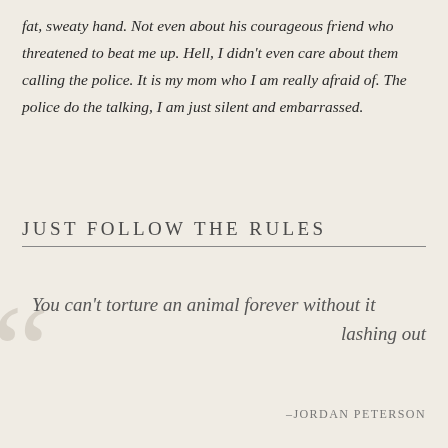fat, sweaty hand. Not even about his courageous friend who threatened to beat me up. Hell, I didn't even care about them calling the police. It is my mom who I am really afraid of. The police do the talking, I am just silent and embarrassed.
JUST FOLLOW THE RULES
You can't torture an animal forever without it lashing out
–JORDAN PETERSON